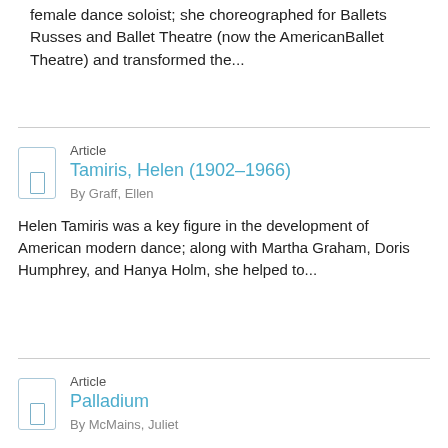female dance soloist; she choreographed for Ballets Russes and Ballet Theatre (now the AmericanBallet Theatre) and transformed the...
Article
Tamiris, Helen (1902–1966)
By Graff, Ellen
Helen Tamiris was a key figure in the development of American modern dance; along with Martha Graham, Doris Humphrey, and Hanya Holm, she helped to...
Article
Palladium
By McMains, Juliet